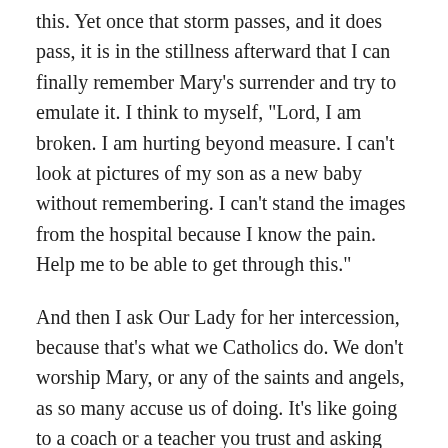this. Yet once that storm passes, and it does pass, it is in the stillness afterward that I can finally remember Mary's surrender and try to emulate it. I think to myself, “Lord, I am broken. I am hurting beyond measure. I can’t look at pictures of my son as a new baby without remembering. I can’t stand the images from the hospital because I know the pain. Help me to be able to get through this.”
And then I ask Our Lady for her intercession, because that’s what we Catholics do. We don’t worship Mary, or any of the saints and angels, as so many accuse us of doing. It’s like going to a coach or a teacher you trust and asking their advice. That’s what we do: we ask for intercession, for their prayers, their advice, their strength. After all, the saints and martyrs have been through this before. So I ask the greatest Mother of all,